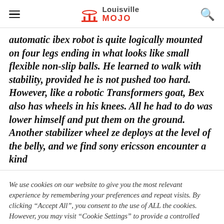Louisville MOJO
automatic ibex robot is quite logically mounted on four legs ending in what looks like small flexible non-slip balls. He learned to walk with stability, provided he is not pushed too hard. However, like a robotic Transformers goat, Bex also has wheels in his knees. All he had to do was lower himself and put them on the ground. Another stabilizer wheel ze deploys at the level of the belly, and we find sony ericsson encounter a kind
We use cookies on our website to give you the most relevant experience by remembering your preferences and repeat visits. By clicking "Accept All", you consent to the use of ALL the cookies. However, you may visit "Cookie Settings" to provide a controlled consent.